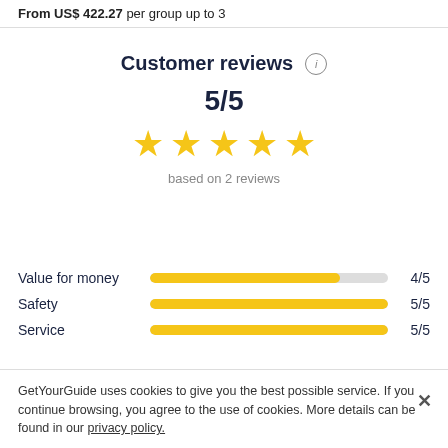From US$ 422.27 per group up to 3
Customer reviews ⓘ
5/5
[Figure (other): Five gold stars rating display]
based on 2 reviews
| Category | Bar | Score |
| --- | --- | --- |
| Value for money | 4/5 bar | 4/5 |
| Safety | 5/5 bar | 5/5 |
| Service | 5/5 bar | 5/5 |
GetYourGuide uses cookies to give you the best possible service. If you continue browsing, you agree to the use of cookies. More details can be found in our privacy policy.